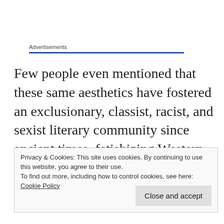Advertisements
Few people even mentioned that these same aesthetics have fostered an exclusionary, classist, racist, and sexist literary community since ancient times, fetishizing Western aesthetics as superior, and in fact, “civilized,” while relegating non-white authors to the status
Privacy & Cookies: This site uses cookies. By continuing to use this website, you agree to their use.
To find out more, including how to control cookies, see here: Cookie Policy
Close and accept